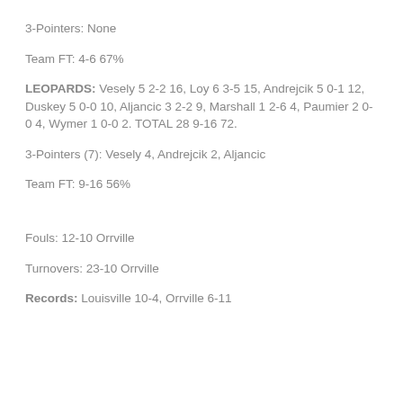3-Pointers: None
Team FT: 4-6 67%
LEOPARDS: Vesely 5 2-2 16, Loy 6 3-5 15, Andrejcik 5 0-1 12, Duskey 5 0-0 10, Aljancic 3 2-2 9, Marshall 1 2-6 4, Paumier 2 0-0 4, Wymer 1 0-0 2. TOTAL 28 9-16 72.
3-Pointers (7): Vesely 4, Andrejcik 2, Aljancic
Team FT: 9-16 56%
Fouls: 12-10 Orrville
Turnovers: 23-10 Orrville
Records: Louisville 10-4, Orrville 6-11